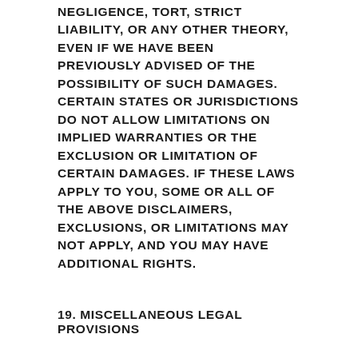NEGLIGENCE, TORT, STRICT LIABILITY, OR ANY OTHER THEORY, EVEN IF WE HAVE BEEN PREVIOUSLY ADVISED OF THE POSSIBILITY OF SUCH DAMAGES. CERTAIN STATES OR JURISDICTIONS DO NOT ALLOW LIMITATIONS ON IMPLIED WARRANTIES OR THE EXCLUSION OR LIMITATION OF CERTAIN DAMAGES. IF THESE LAWS APPLY TO YOU, SOME OR ALL OF THE ABOVE DISCLAIMERS, EXCLUSIONS, OR LIMITATIONS MAY NOT APPLY, AND YOU MAY HAVE ADDITIONAL RIGHTS.
19. MISCELLANEOUS LEGAL PROVISIONS
Company may discontinue the Sites at any time and for any reason, without notice. Company may change, suspend, or cancel the